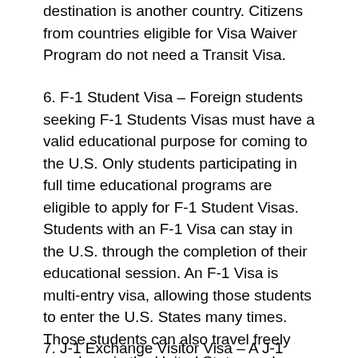destination is another country. Citizens from countries eligible for Visa Waiver Program do not need a Transit Visa.
6. F-1 Student Visa – Foreign students seeking F-1 Students Visas must have a valid educational purpose for coming to the U.S. Only students participating in full time educational programs are eligible to apply for F-1 Student Visas. Students with an F-1 Visa can stay in the U.S. through the completion of their educational session. An F-1 Visa is multi-entry visa, allowing those students to enter the U.S. States many times. Those students can also travel freely anywhere in the United States and can do practical trainings to gain work experience. In many cases, students obtaining a bachelor or master's degree can be sponsored by their employer and obtain an H-1B Work Visa. This is the biggest advantage attached in first obtaining an F-1 Student Visa.
7. J-1 Exchange Visitor Visa – A J-1 Exchange Visitor Visa